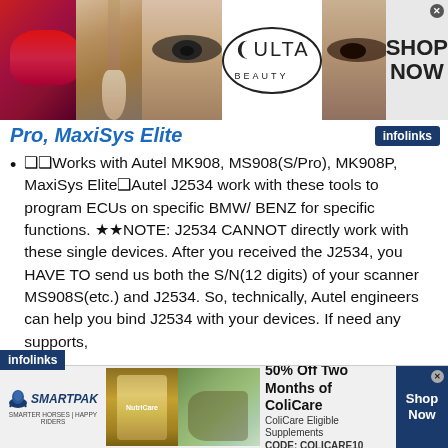[Figure (photo): Top banner advertisement for Ulta Beauty showing makeup/cosmetics images (lips, brush, eye makeup) and a Shop Now button on grey background]
Pro, MaxiSys Elite
Works with Autel MK908, MS908(S/Pro), MK908P, MaxiSys EliteAutel J2534 work with these tools to program ECUs on specific BMW/ BENZ for specific functions. ★★NOTE: J2534 CANNOT directly work with these single devices. After you received the J2534, you HAVE TO send us both the S/N(12 digits) of your scanner MS908S(etc.) and J2534. So, technically, Autel engineers can help you bind J2534 with your devices. If need any supports,
[Figure (photo): Bottom banner advertisement for SmartPak featuring ColiCare supplement with a horse and rider image. Text: 50% Off Two Months of ColiCare, ColiCare Eligible Supplements, CODE: COLICARE10, Shop Now button]